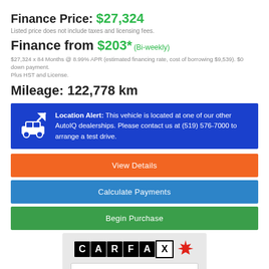Finance Price: $27,324
Listed price does not include taxes and licensing fees.
Finance from $203* (Bi-weekly)
$27,324 x 84 Months @ 8.99% APR (estimated financing rate, cost of borrowing $9,539). $0 down payment. Plus HST and License.
Mileage: 122,778 km
Location Alert: This vehicle is located at one of our other AutoIQ dealerships. Please contact us at (519) 576-7000 to arrange a test drive.
View Details
Calculate Payments
Begin Purchase
[Figure (logo): CARFAX Canada logo with maple leaf and VIEW REPORT button]